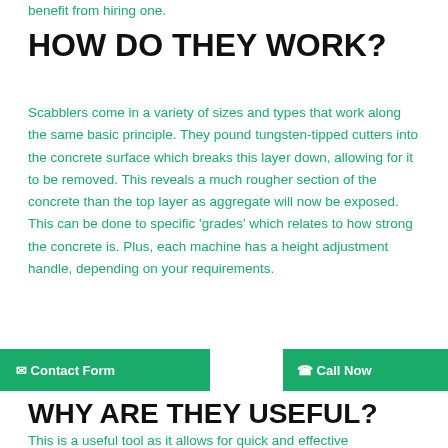benefit from hiring one.
HOW DO THEY WORK?
Scabblers come in a variety of sizes and types that work along the same basic principle. They pound tungsten-tipped cutters into the concrete surface which breaks this layer down, allowing for it to be removed. This reveals a much rougher section of the concrete than the top layer as aggregate will now be exposed. This can be done to specific 'grades' which relates to how strong the concrete is. Plus, each machine has a height adjustment handle, depending on your requirements.
WHY ARE THEY USEFUL?
This is a useful tool as it allows for quick and effective